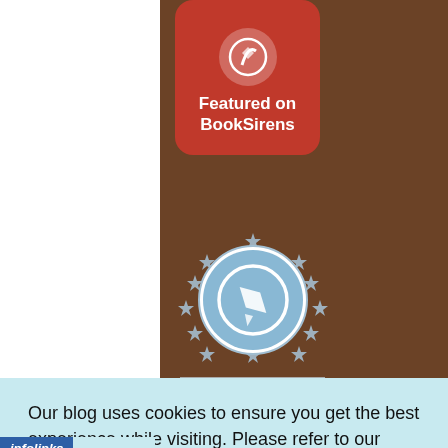[Figure (logo): BookSirens 'Featured on BookSirens' badge with red rounded rectangle and white icon]
[Figure (logo): Top Reviewer badge with blue circle containing pencil/checkmark icon surrounded by stars, and 'TOP REVIEWER' label below]
Our blog uses cookies to ensure you get the best experience while visiting. Please refer to our Privacy Policy by using the navigation above
[Figure (logo): infolinks logo bar]
[Figure (screenshot): NFL Shop advertisement: Free shipping on orders over $25, www.nflshop.com, SHOP NOW button, with maroon jersey image and blue arrow button]